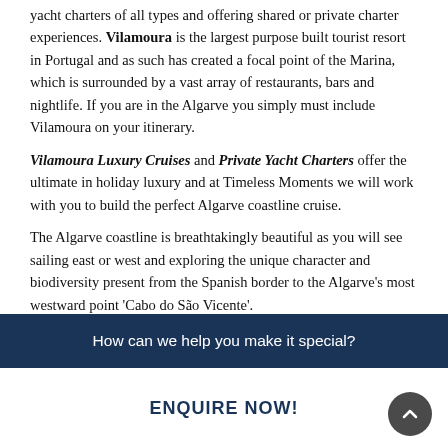yacht charters of all types and offering shared or private charter experiences. Vilamoura is the largest purpose built tourist resort in Portugal and as such has created a focal point of the Marina, which is surrounded by a vast array of restaurants, bars and nightlife. If you are in the Algarve you simply must include Vilamoura on your itinerary.
Vilamoura Luxury Cruises and Private Yacht Charters offer the ultimate in holiday luxury and at Timeless Moments we will work with you to build the perfect Algarve coastline cruise.
The Algarve coastline is breathtakingly beautiful as you will see sailing east or west and exploring the unique character and biodiversity present from the Spanish border to the Algarve's most westward point 'Cabo do São Vicente'.
Sailing east from Vilamoura you will see the coastline offering long sandy beaches with smooth undulating hills as the backdrop. Cruising further east we can enter the Ria Formosa nature reserve, famous for the inlets and islands that you may
How can we help you make it special?
ENQUIRE NOW!